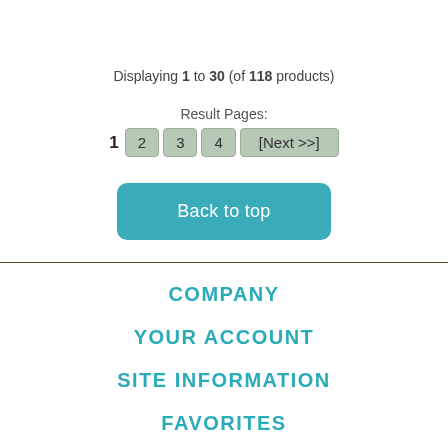Displaying 1 to 30 (of 118 products)
Result Pages:
1  2  3  4  [Next >>]
Back to top
COMPANY
YOUR ACCOUNT
SITE INFORMATION
FAVORITES